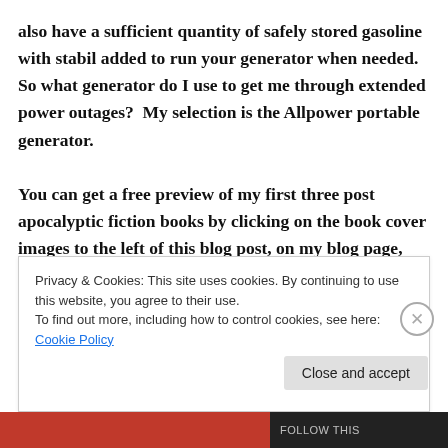also have a sufficient quantity of safely stored gasoline with stabil added to run your generator when needed.  So what generator do I use to get me through extended power outages?  My selection is the Allpower portable generator.

You can get a free preview of my first three post apocalyptic fiction books by clicking on the book cover images to the left of this blog post, on my blog page, which will take you to the Amazon.com website.  Then you can click on the look inside option which
Privacy & Cookies: This site uses cookies. By continuing to use this website, you agree to their use.
To find out more, including how to control cookies, see here: Cookie Policy
Close and accept